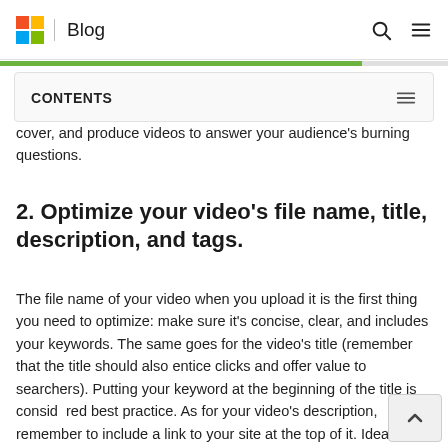Blog
cover, and produce videos to answer your audience's burning questions.
2. Optimize your video's file name, title, description, and tags.
The file name of your video when you upload it is the first thing you need to optimize: make sure it's concise, clear, and includes your keywords. The same goes for the video's title (remember that the title should also entice clicks and offer value to searchers). Putting your keyword at the beginning of the title is considered best practice. As for your video's description, remember to include a link to your site at the top of it. Ideally, the description should be 200+